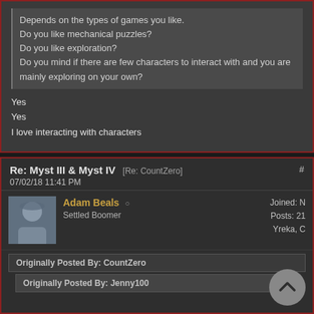Depends on the types of games you like.
Do you like mechanical puzzles?
Do you like exploration?
Do you mind if there are few characters to interact with and you are mainly exploring on your own?
Yes
Yes
I love interacting with characters
I guess its the type of game where you are all alone mostly. I think I shou give one a try. Which one should I start with?
Re: Myst III & Myst IV [Re: CountZero] #
07/02/18 11:41 PM
Adam Beals
Settled Boomer
Joined: N
Posts: 21
Yreka, C
Originally Posted By: CountZero
Originally Posted By: Jenny100